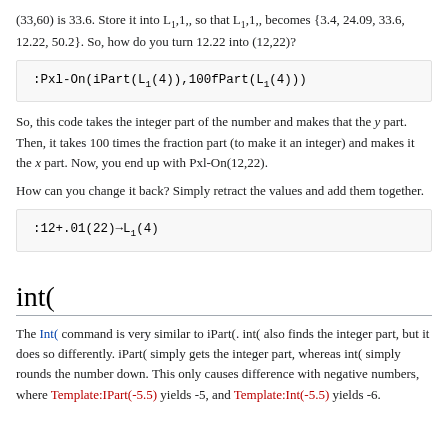(33,60) is 33.6. Store it into L₁,1, so that L₁,1, becomes {3.4, 24.09, 33.6, 12.22, 50.2}. So, how do you turn 12.22 into (12,22)?
[Figure (screenshot): Code block showing: :Pxl-On(iPart(L₁(4)),100fPart(L₁(4)))]
So, this code takes the integer part of the number and makes that the y part. Then, it takes 100 times the fraction part (to make it an integer) and makes it the x part. Now, you end up with Pxl-On(12,22).
How can you change it back? Simply retract the values and add them together.
[Figure (screenshot): Code block showing: :12+.01(22)→L₁(4)]
int(
The Int( command is very similar to iPart(. int( also finds the integer part, but it does so differently. iPart( simply gets the integer part, whereas int( simply rounds the number down. This only causes difference with negative numbers, where Template:IPart(-5.5) yields -5, and Template:Int(-5.5) yields -6.